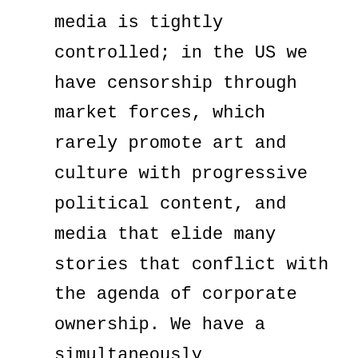media is tightly controlled; in the US we have censorship through market forces, which rarely promote art and culture with progressive political content, and media that elide many stories that conflict with the agenda of corporate ownership. We have a simultaneously sophisticated and crude way of policing ourselves—depending on what neighborhood we live in–and unlike Cuba, we don't have a sustained commitment to public education, medicine, and the cultural expressions of non-elite communities. Perhaps most disappointing is the fact that in public discourse it is almost impossible to have serious discussions about economic systems